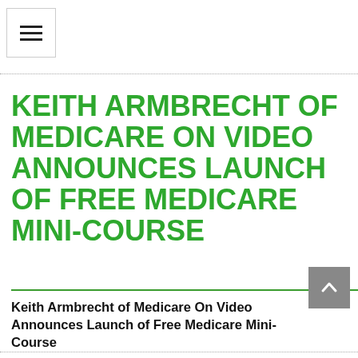≡
KEITH ARMBRECHT OF MEDICARE ON VIDEO ANNOUNCES LAUNCH OF FREE MEDICARE MINI-COURSE
Keith Armbrecht of Medicare On Video Announces Launch of Free Medicare Mini-Course
May 19  20:12  2022